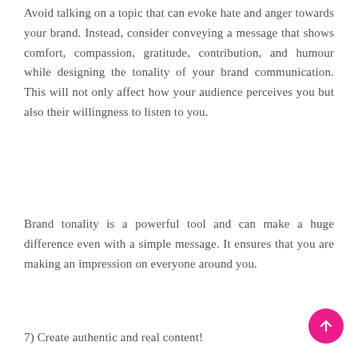Avoid talking on a topic that can evoke hate and anger towards your brand. Instead, consider conveying a message that shows comfort, compassion, gratitude, contribution, and humour while designing the tonality of your brand communication. This will not only affect how your audience perceives you but also their willingness to listen to you.
Brand tonality is a powerful tool and can make a huge difference even with a simple message. It ensures that you are making an impression on everyone around you.
7) Create authentic and real content!